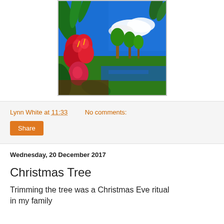[Figure (illustration): Tropical scene illustration with red hibiscus flowers in foreground, green palm trees and lush vegetation in background, blue sky with white clouds, blue water, colorful comic/graphic art style with halftone dot pattern visible]
Lynn White at 11:33    No comments:
Share
Wednesday, 20 December 2017
Christmas Tree
Trimming the tree was a Christmas Eve ritual in my family